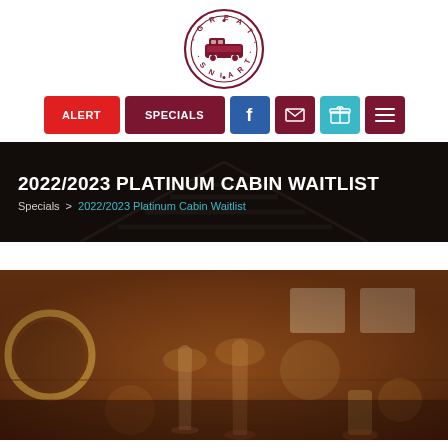[Figure (logo): Great Trains circular logo with train image in maroon/dark red]
ALERT | SPECIALS | Facebook | Email | Gift | Menu
2022/2023 PLATINUM CABIN WAITLIST
Specials > 2022/2023 Platinum Cabin Waitlist
[Figure (photo): Warm interior of a train cabin with wine glasses and candle in bokeh, wood paneling visible in background with window light]